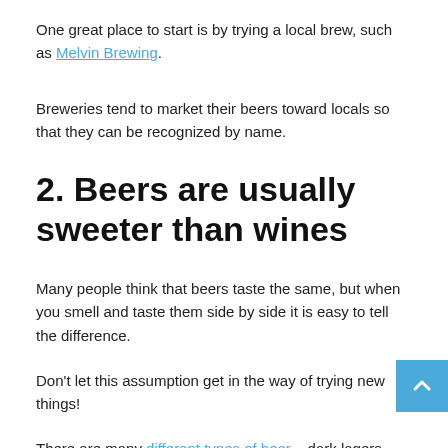One great place to start is by trying a local brew, such as Melvin Brewing.
Breweries tend to market their beers toward locals so that they can be recognized by name.
2. Beers are usually sweeter than wines
Many people think that beers taste the same, but when you smell and taste them side by side it is easy to tell the difference.
Don't let this assumption get in the way of trying new things!
There are many different types of beer – dark lagers, pale